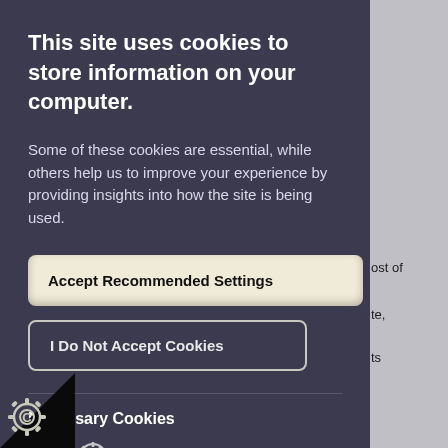This site uses cookies to store information on your computer.
Some of these cookies are essential, while others help us to improve your experience by providing insights into how the site is being used.
Accept Recommended Settings
I Do Not Accept Cookies
Necessary Cookies
essary cookies enable core functionality such navigation and access to secure areas.